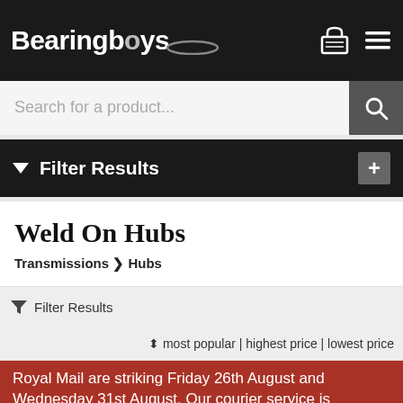Bearingboys
Search for a product...
Filter Results
Weld On Hubs
Transmissions > Hubs
Filter Results
most popular | highest price | lowest price
Royal Mail are striking Friday 26th August and Wednesday 31st August. Our courier service is unaffected. Please select courier delivery if urgent.